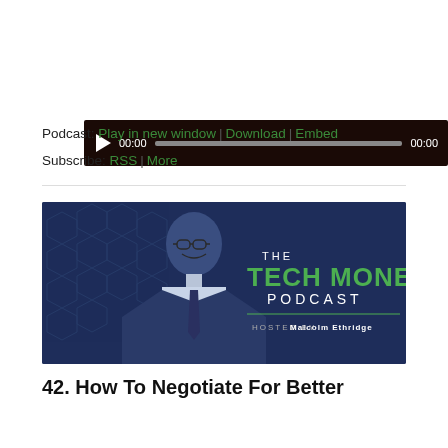[Figure (screenshot): Audio player with dark brown/black background, play button, time displays showing 00:00, and a progress bar]
Podcast: Play in new window | Download | Embed
Subscribe: RSS | More
[Figure (photo): The Tech Money Podcast banner featuring a man in a suit and glasses smiling, with 'THE TECH MONEY PODCAST HOSTED BY Malcolm Ethridge' text on a dark navy background with hexagon pattern]
42. How To Negotiate For Better